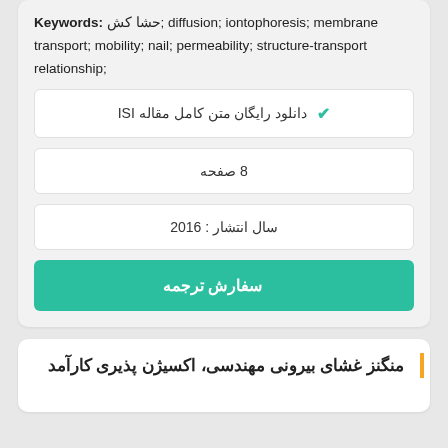Keywords: حشا کش; diffusion; iontophoresis; membrane transport; mobility; nail; permeability; structure-transport relationship;
✔ دانلود رایگان متن کامل مقاله ISI
8 صفحه
سال انتشار : 2016
✔ سفارش ترجمه
منگنز غشای بیرونی مهندسی، اکسیژن پذیری کارآمد